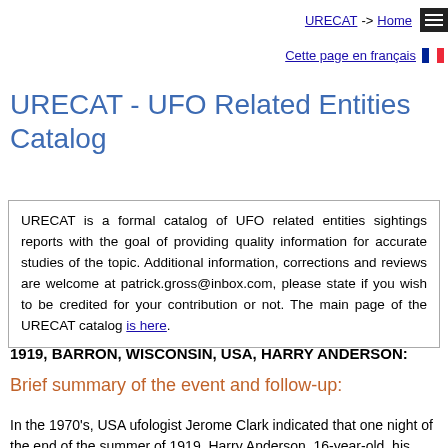URECAT -> Home
Cette page en français
URECAT - UFO Related Entities Catalog
URECAT is a formal catalog of UFO related entities sightings reports with the goal of providing quality information for accurate studies of the topic. Additional information, corrections and reviews are welcome at patrick.gross@inbox.com, please state if you wish to be credited for your contribution or not. The main page of the URECAT catalog is here.
1919, BARRON, WISCONSIN, USA, HARRY ANDERSON:
Brief summary of the event and follow-up:
In the 1970's, USA ufologist Jerome Clark indicated that one night of the end of the summer of 1919, Harry Anderson, 16-year-old, his family and some friends went for a stain in the area. Fog had a old IT family...